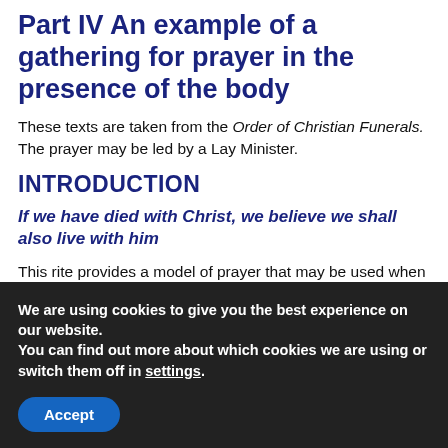Part IV An example of a gathering for prayer in the presence of the body
These texts are taken from the Order of Christian Funerals. The prayer may be led by a Lay Minister.
INTRODUCTION
If we have died with Christ, we believe we shall also live with him
This rite provides a model of prayer that may be used when the family first gathers in the presence of the body when the body is to be prepared for
We are using cookies to give you the best experience on our website.
You can find out more about which cookies we are using or switch them off in settings.
Accept